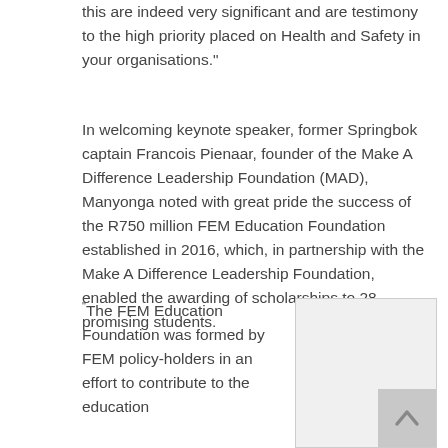this are indeed very significant and are testimony to the high priority placed on Health and Safety in your organisations."
In welcoming keynote speaker, former Springbok captain Francois Pienaar, founder of the Make A Difference Leadership Foundation (MAD), Manyonga noted with great pride the success of the R750 million FEM Education Foundation established in 2016, which, in partnership with the Make A Difference Leadership Foundation, enabled the awarding of scholarships to 28 promising students.
“The FEM Education Foundation was formed by FEM policy-holders in an effort to contribute to the education
[Figure (photo): A photo placeholder with a light grey background and a scroll-to-top button in the bottom right corner.]